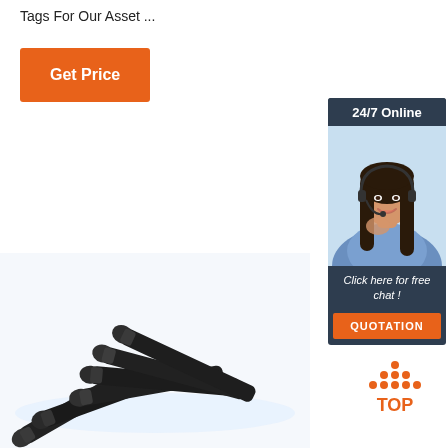Tags For Our Asset ...
Get Price
[Figure (illustration): Customer service representative with headset, 24/7 Online chat widget with orange QUOTATION button]
[Figure (photo): Pile of black metal nails/rivets on white background]
[Figure (logo): TOP scroll-to-top badge with orange dots forming upward arrow]